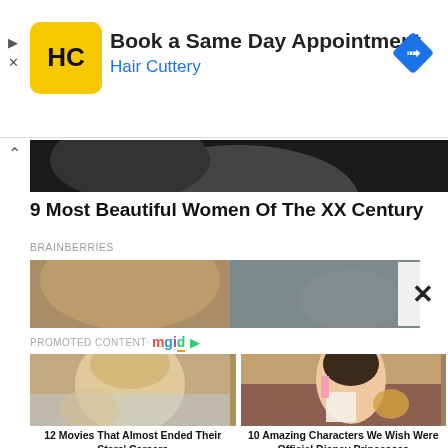[Figure (screenshot): Hair Cuttery advertisement banner with yellow HC logo, 'Book a Same Day Appointment' text, 'Hair Cuttery' in blue, and blue navigation arrow icon]
[Figure (photo): Black and white partial face photo strip]
9 Most Beautiful Women Of The XX Century
BRAINBERRIES
[Figure (photo): Color photo strip showing blonde hair/person]
PROMOTED CONTENT mgid
[Figure (photo): Photo of Jennifer Lopez in white top]
12 Movies That Almost Ended Their Stars' Careers
[Figure (illustration): Animated Disney-style character with dark hair holding a tambourine]
10 Amazing Characters We Wish Were Official Disney Princesses